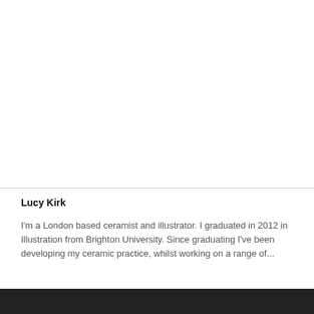[Figure (photo): Large blank white image area at the top of the page]
Lucy Kirk
I'm a London based ceramist and illustrator. I graduated in 2012 in Illustration from Brighton University. Since graduating I've been developing my ceramic practice, whilst working on a range of...